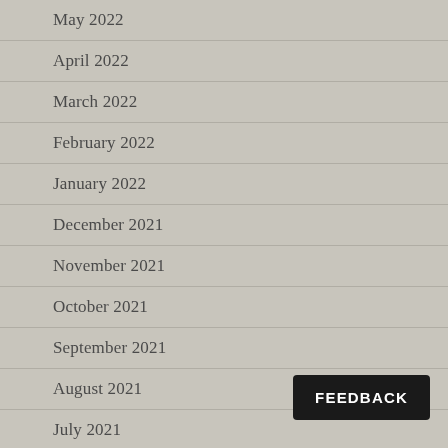May 2022
April 2022
March 2022
February 2022
January 2022
December 2021
November 2021
October 2021
September 2021
August 2021
July 2021
FEEDBACK